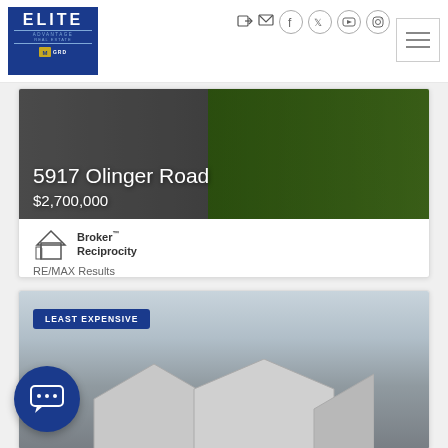[Figure (screenshot): Elite Advantage Real Estate logo on blue background]
[Figure (screenshot): Social media and navigation icons row]
[Figure (photo): Property listing photo for 5917 Olinger Road showing driveway and landscaping]
5917 Olinger Road
$2,700,000
[Figure (logo): Broker Reciprocity logo with house icon]
RE/MAX Results
[Figure (photo): Second property listing photo with LEAST EXPENSIVE badge, showing house rooftops against cloudy sky]
[Figure (other): Chat button with speech bubble icon]